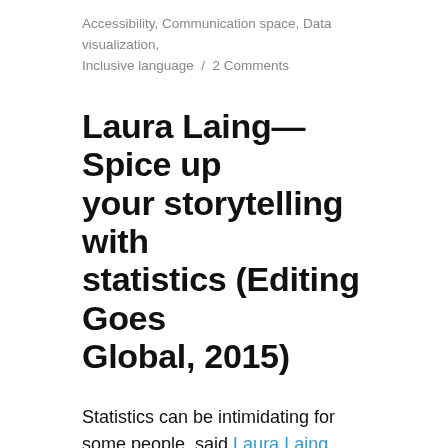Accessibility, Communication space, Data visualization, Inclusive language / 2 Comments
Laura Laing—Spice up your storytelling with statistics (Editing Goes Global, 2015)
Statistics can be intimidating for some people, said Laura Laing, author of Math for Grownups and Math for Writers, but they can also be a great way to tell a story. Laing gave us some tips on how to use statistics effectively and accurately in our writing.